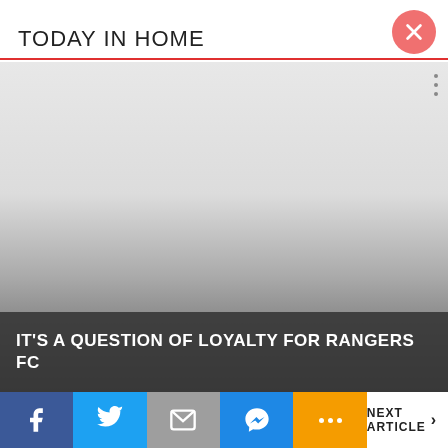TODAY IN HOME
[Figure (screenshot): A smartphone app screenshot showing a football stadium image with a gradient from light grey to dark grey, representing a video or article thumbnail. Three vertical dots menu visible at top right of image.]
IT'S A QUESTION OF LOYALTY FOR RANGERS FC
[Figure (photo): Thumbnail photo of a football stadium (Camp Nou) filled with spectators, viewed from pitch level, with a bright sky above.]
BARCELONA
Barcelona Full Back Could Exit In A Swap Deal With Manchester United: Should Xavi Cut Him Loose?
NEXT ARTICLE >